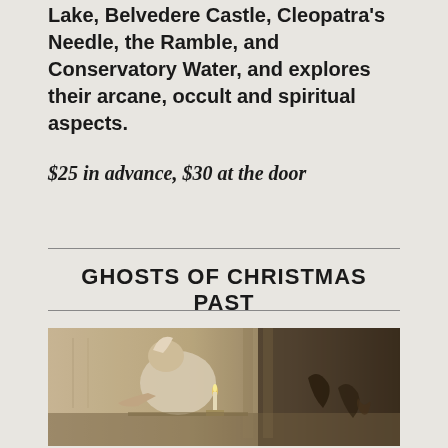Lake, Belvedere Castle, Cleopatra's Needle, the Ramble, and Conservatory Water, and explores their arcane, occult and spiritual aspects.
$25 in advance, $30 at the door
GHOSTS OF CHRISTMAS PAST
[Figure (illustration): A vintage engraving-style illustration depicting a hunched elderly figure (Scrooge) wrapped in bedclothes, leaning over a table with a candle, in a dark Victorian interior scene.]